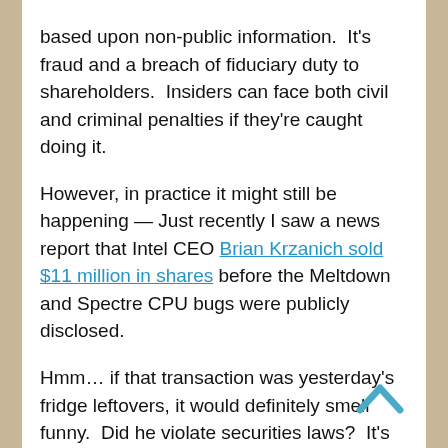based upon non-public information. It's fraud and a breach of fiduciary duty to shareholders. Insiders can face both civil and criminal penalties if they're caught doing it.
However, in practice it might still be happening — Just recently I saw a news report that Intel CEO Brian Krzanich sold $11 million in shares before the Meltdown and Spectre CPU bugs were publicly disclosed.
Hmm... if that transaction was yesterday's fridge leftovers, it would definitely smell funny. Did he violate securities laws? It's hard to say, but at some point I think the courts are going to decide. It definitely looks bad.
My point is — insider trading probably still goes on, but it's often caught and the courts are...